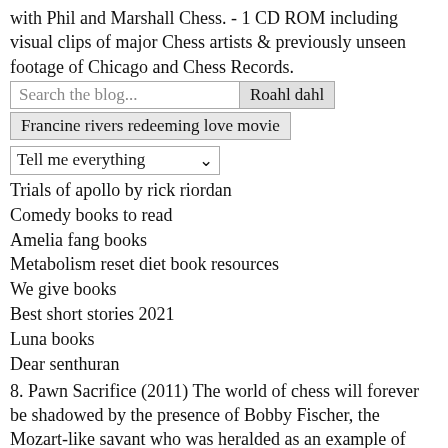with Phil and Marshall Chess. - 1 CD ROM including visual clips of major Chess artists & previously unseen footage of Chicago and Chess Records.
[Figure (screenshot): Search bar with text 'Search the blog...' and button 'Roahl dahl', followed by a tag button 'Francine rivers redeeming love movie', and a dropdown 'Tell me everything']
Trials of apollo by rick riordan
Comedy books to read
Amelia fang books
Metabolism reset diet book resources
We give books
Best short stories 2021
Luna books
Dear senthuran
8. Pawn Sacrifice (2011) The world of chess will forever be shadowed by the presence of Bobby Fischer, the Mozart-like savant who was heralded as an example of American superiority over the USSR ...Few may recognize the rich history behind the development of that technology. In a revolutionary chess tournament in 1997, the chess world champion was defeated by an IBM supercomputer called Deep Blue, shocking the media and the general public. To the artificial intelligence community, however, this was a long time coming.
Top book  Enter your email